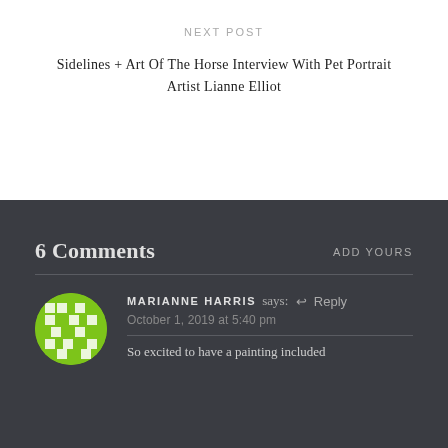NEXT POST
Sidelines + Art Of The Horse Interview With Pet Portrait Artist Lianne Elliot
6 Comments
ADD YOURS
MARIANNE HARRIS says: ↩ Reply
October 1, 2019 at 5:40 pm
So excited to have a painting included